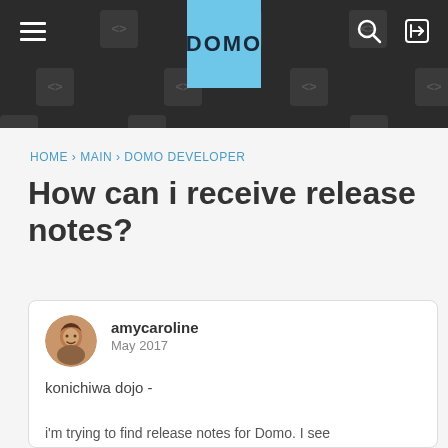DOMO - navigation header with hamburger menu, logo, search and login icons
HOME › MAIN › DOMO DEVELOPER
How can i receive release notes?
amycaroline
May 2017

konichiwa dojo -

i'm trying to find release notes for Domo. I see